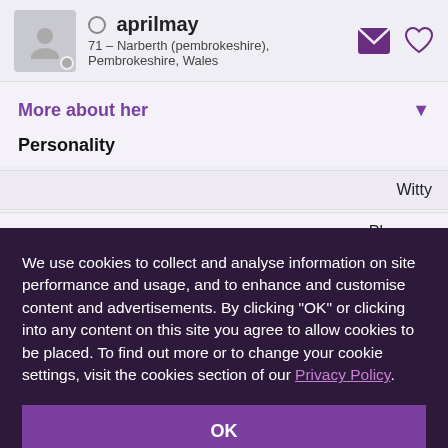aprilmay – 71 – Narberth (pembrokeshire), Pembrokeshire, Wales
More about her
Personality
We use cookies to collect and analyse information on site performance and usage, and to enhance and customise content and advertisements. By clicking "OK" or clicking into any content on this site you agree to allow cookies to be placed. To find out more or to change your cookie settings, visit the cookies section of our Privacy Policy.
OK